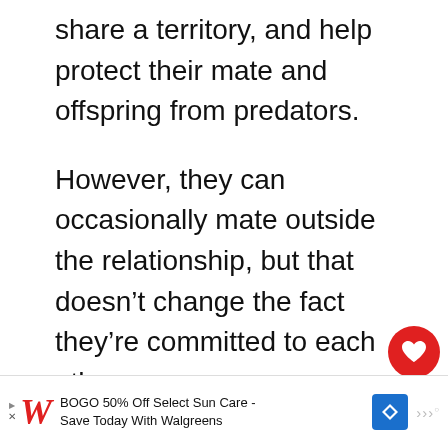share a territory, and help protect their mate and offspring from predators.
However, they can occasionally mate outside the relationship, but that doesn't change the fact they're committed to each other.
[Figure (other): Red circular heart/like button with white heart icon, showing count of 4 below it, and a share button below that]
[Figure (other): What's Next panel: thumbnail image of couple, red label WHAT'S NEXT with arrow, text '15 Tips On How To Mak...']
[Figure (other): Advertisement banner: Walgreens logo, text 'BOGO 50% Off Select Sun Care - Save Today With Walgreens', navigation icon, microphone icon]